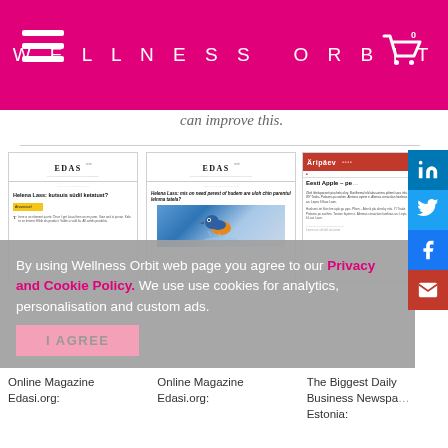WELLNESS ORBIT
can improve this.
[Figure (screenshot): Online Magazine Edasi.org article thumbnail 1 - Helena Lass article]
[Figure (screenshot): Online Magazine Edasi.org article thumbnail 2 - Helena Lass article with kingfisher bird image]
[Figure (screenshot): Äripäev - Eesti Apple news article thumbnail]
By using Wellness Orbit web page you agree to our Privacy and Cookie Policy. We use use cookies for analytics, personalisation and custom ads.
I AGREE
Online Magazine Edasi.org:
Online Magazine Edasi.org:
The Biggest Daily Business Newspaper Estonia: